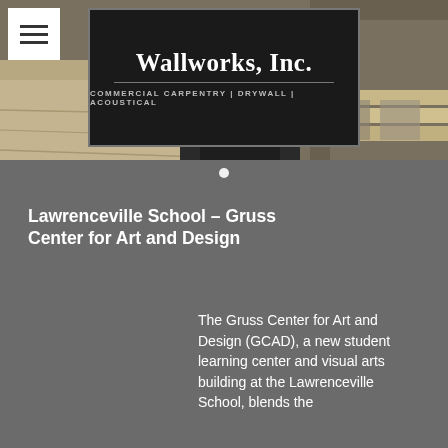[Figure (photo): Header photo background showing carpentry/woodworking scene with wood pieces on a table, with Wallworks Inc. logo overlay]
Wallworks, Inc. | COMMERCIAL CARPENTRY | DRYWALL | ACOUSTICAL
Lawrenceville School – Gruss Center for Art and Design
The Gruss Center for Art and Design (GCAD), a new student learning center and visual arts building at the Lawrenceville School, blends the